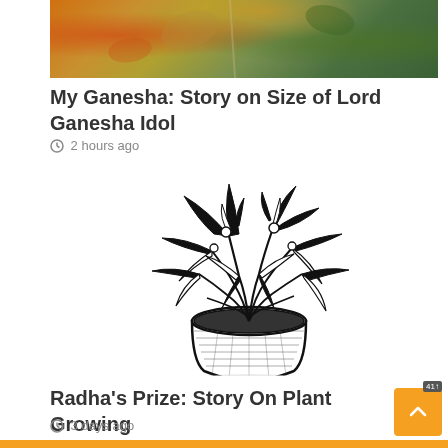[Figure (photo): Colorful floral/decorative image with orange, red, yellow and green colors — partial top of article image]
My Ganesha: Story on Size of Lord Ganesha Idol
2 hours ago
[Figure (illustration): Black and white ink illustration of a leafy plant in a decorative pot]
Radha's Prize: Story On Plant Growing
3 days ago
[Figure (illustration): Black and white illustration of a person's profile face — partial bottom of page]